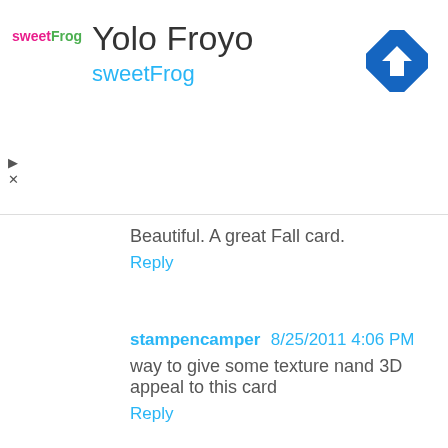[Figure (logo): sweetFrog frozen yogurt advertisement banner with logo, title 'Yolo Froyo', subtitle 'sweetFrog', and a blue diamond navigation icon]
Beautiful. A great Fall card.
Reply
stampencamper 8/25/2011 4:06 PM
way to give some texture nand 3D appeal to this card
Reply
Marsha 8/25/2011 4:12 PM
This is so beautiful. Love the use of the Flower Soft.
Reply
Anonymous 8/25/2011 5:15 PM